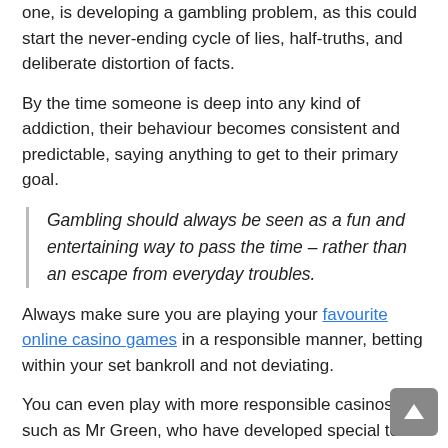one, is developing a gambling problem, as this could start the never-ending cycle of lies, half-truths, and deliberate distortion of facts.
By the time someone is deep into any kind of addiction, their behaviour becomes consistent and predictable, saying anything to get to their primary goal.
Gambling should always be seen as a fun and entertaining way to pass the time – rather than an escape from everyday troubles.
Always make sure you are playing your favourite online casino games in a responsible manner, betting within your set bankroll and not deviating.
You can even play with more responsible casinos, such as Mr Green, who have developed special tools to help you keep you in control of your spending and who will let you know if you're gambling pattern start to change or are